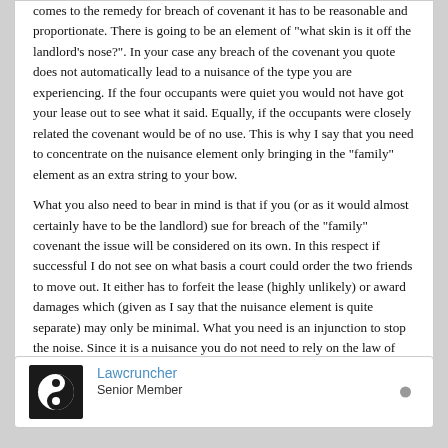comes to the remedy for breach of covenant it has to be reasonable and proportionate. There is going to be an element of "what skin is it off the landlord's nose?". In your case any breach of the covenant you quote does not automatically lead to a nuisance of the type you are experiencing. If the four occupants were quiet you would not have got your lease out to see what it said. Equally, if the occupants were closely related the covenant would be of no use. This is why I say that you need to concentrate on the nuisance element only bringing in the "family" element as an extra string to your bow.
What you also need to bear in mind is that if you (or as it would almost certainly have to be the landlord) sue for breach of the "family" covenant the issue will be considered on its own. In this respect if successful I do not see on what basis a court could order the two friends to move out. It either has to forfeit the lease (highly unlikely) or award damages which (given as I say that the nuisance element is quite separate) may only be minimal. What you need is an injunction to stop the noise. Since it is a nuisance you do not need to rely on the law of landlord and tenant.
Lawcruncher
Senior Member